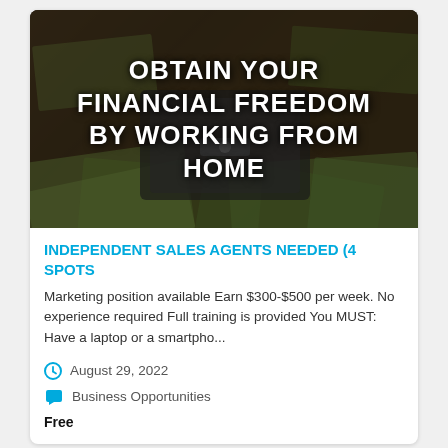[Figure (photo): Dark background image showing stacks of US dollar bills and a briefcase/safe, with bold white text overlaid reading: OBTAIN YOUR FINANCIAL FREEDOM BY WORKING FROM HOME]
INDEPENDENT SALES AGENTS NEEDED (4 SPOTS
Marketing position available Earn $300-$500 per week. No experience required Full training is provided You MUST: Have a laptop or a smartpho...
August 29, 2022
Business Opportunities
Free